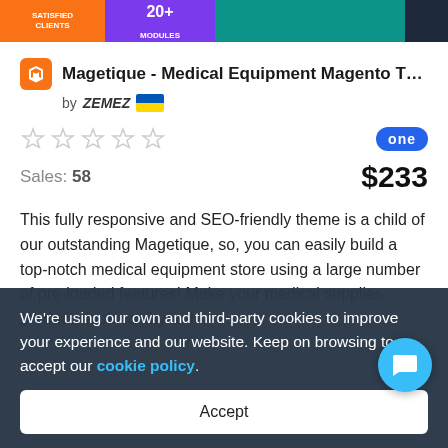[Figure (screenshot): Top banner with orange 'SATISFIED CLIENTS', purple 'MODULES', teal section, and dark section]
Magetique - Medical Equipment Magento The...
by ZEMEZ 🇺🇦
[Figure (other): 5 empty star ratings and 'one' badge in blue]
Sales: 58
$233
This fully responsive and SEO-friendly theme is a child of our outstanding Magetique, so, you can easily build a top-notch medical equipment store using a large number of pre-loaded features! Make your medical supplies products look catchy with...
We're using our own and third-party cookies to improve your experience and our website. Keep on browsing to accept our cookie policy.
Accept